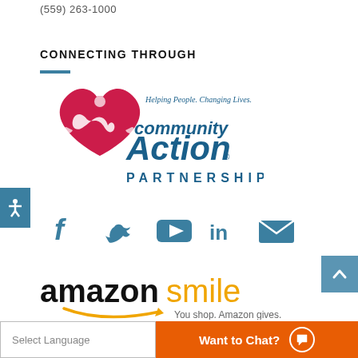(559) 263-1000
CONNECTING THROUGH
[Figure (logo): Community Action Partnership logo — red heart with embracing figures, blue text reading 'community Action PARTNERSHIP', tagline 'Helping People. Changing Lives.']
[Figure (infographic): Social media icons: Facebook, Twitter, YouTube, LinkedIn, Email — all in steel blue]
[Figure (logo): Amazon Smile logo — 'amazonsmile' with orange smile arrow, tagline 'You shop. Amazon gives.']
Select Language
Want to Chat?